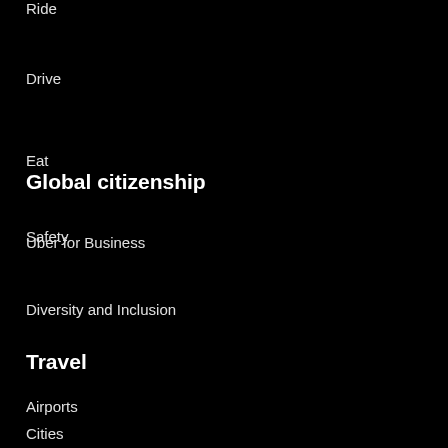Ride
Drive
Eat
Uber for Business
Global citizenship
Safety
Diversity and Inclusion
Travel
Airports
Cities